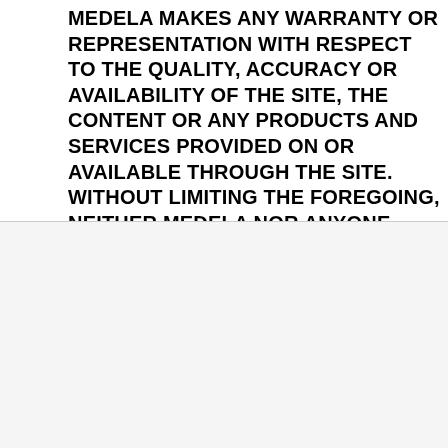MEDELA MAKES ANY WARRANTY OR REPRESENTATION WITH RESPECT TO THE QUALITY, ACCURACY OR AVAILABILITY OF THE SITE, THE CONTENT OR ANY PRODUCTS AND SERVICES PROVIDED ON OR AVAILABLE THROUGH THE SITE. WITHOUT LIMITING THE FOREGOING, NEITHER MEDELA NOR ANYONE ASSOCIATED WITH MEDELA WARRANTS OR REPRESENTS THAT THE SITE, THE CONTENT OR THE PRODUCTS OR SERVICES PROVIDED ON OR AVAILABLE THROUGH THE SITE WILL BE ACCURATE, RELIABLE, ERROR-
[Figure (illustration): Medela Family popup advertisement showing a pregnant woman sitting with a laptop, with Medela Family branding, a list of benefits (Unlock exclusive discounts, Learn from trusted experts, Get personalized support), and a JOIN NOW button. A close (X) button is in the top right.]